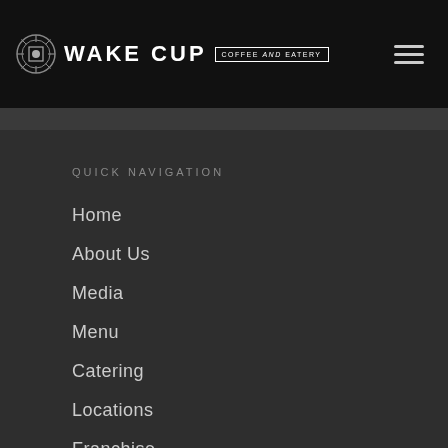WAKE CUP COFFEE and EATERY
QUICK NAVIGATION
Home
About Us
Media
Menu
Catering
Locations
Franchise
Career